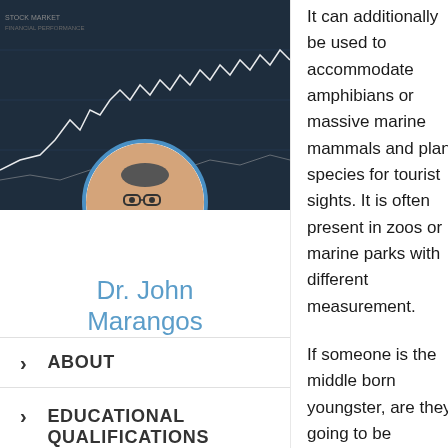[Figure (photo): Stock market chart background with line graph on dark background]
[Figure (photo): Circular profile photo of Dr. John Marangos, a man wearing glasses and white shirt]
Dr. John Marangos
› ABOUT
› EDUCATIONAL QUALIFICATIONS
It can additionally be used to accommodate amphibians or massive marine mammals and plant species for tourist sights. It is often present in zoos or marine parks with different measurement.
If someone is the middle born youngster, are they going to be